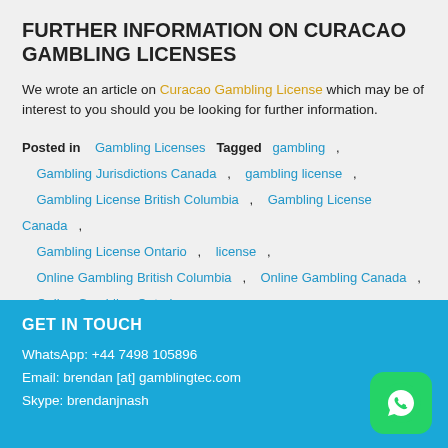FURTHER INFORMATION ON CURACAO GAMBLING LICENSES
We wrote an article on Curacao Gambling License which may be of interest to you should you be looking for further information.
Posted in   Gambling Licenses   Tagged   gambling ,   Gambling Jurisdictions Canada ,   gambling license ,   Gambling License British Columbia ,   Gambling License Canada ,   Gambling License Ontario ,   license ,   Online Gambling British Columbia ,   Online Gambling Canada ,   Online Gambling Ontario
GET IN TOUCH
WhatsApp: +44 7498 105896
Email: brendan [at] gamblingtec.com
Skype: brendanjnash